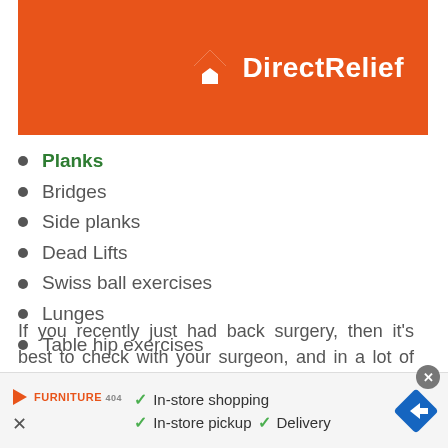[Figure (logo): Direct Relief logo on orange banner background]
Planks
Bridges
Side planks
Dead Lifts
Swiss ball exercises
Lunges
Table hip exercises
If you recently just had back surgery, then it’s best to check with your surgeon, and in a lot of cases, they will have you wear a back brace while sleeping. This helps protect the new injury while it heals.